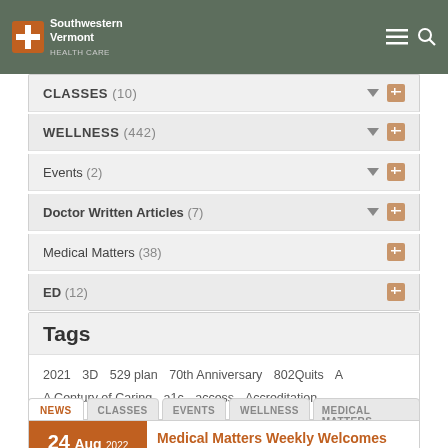Southwestern Vermont Health Care
Categories
CLASSES (10)
WELLNESS (442)
Events (2)
Doctor Written Articles (7)
Medical Matters (38)
ED (12)
Tags
2021  3D  529 plan  70th Anniversary  802Quits  A  A Century of Caring  a1c  access  Accreditation
NEWS  CLASSES  EVENTS  WELLNESS  MEDICAL MATTERS
24 Aug 2022 — Medical Matters Weekly Welcomes Leading Exercise Behavioral Scientist